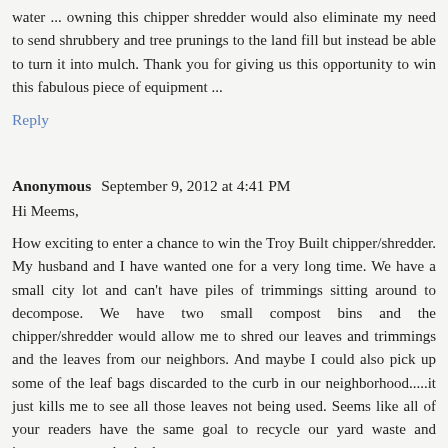water ... owning this chipper shredder would also eliminate my need to send shrubbery and tree prunings to the land fill but instead be able to turn it into mulch. Thank you for giving us this opportunity to win this fabulous piece of equipment ...
Reply
Anonymous  September 9, 2012 at 4:41 PM
Hi Meems,
How exciting to enter a chance to win the Troy Built chipper/shredder. My husband and I have wanted one for a very long time. We have a small city lot and can't have piles of trimmings sitting around to decompose. We have two small compost bins and the chipper/shredder would allow me to shred our leaves and trimmings and the leaves from our neighbors. And maybe I could also pick up some of the leaf bags discarded to the curb in our neighborhood.....it just kills me to see all those leaves not being used. Seems like all of your readers have the same goal to recycle our yard waste and improve our garden beds.